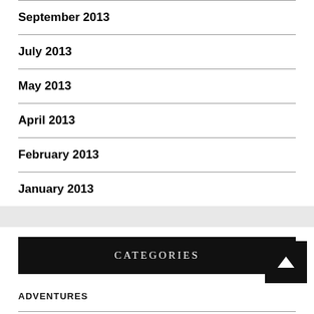September 2013
July 2013
May 2013
April 2013
February 2013
January 2013
CATEGORIES
ADVENTURES
AHMEDABAD